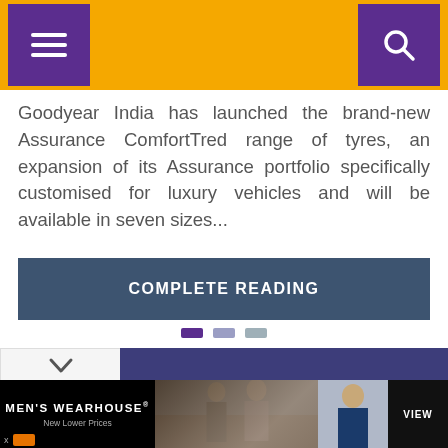Navigation bar with hamburger menu and search icon
Goodyear India has launched the brand-new Assurance ComfortTred range of tyres, an expansion of its Assurance portfolio specifically customised for luxury vehicles and will be available in seven sizes...
COMPLETE READING
[Figure (other): Pagination indicator dots: one active purple dot and two inactive grey dots]
[Figure (screenshot): Men's Wearhouse advertisement banner showing couple in formal wear and a man in a suit with VIEW button]